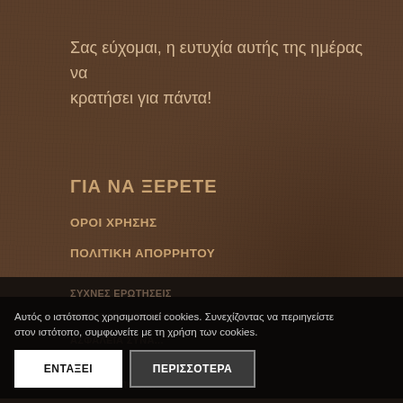Σας εύχομαι, η ευτυχία αυτής της ημέρας να κρατήσει για πάντα!
ΓΙΑ ΝΑ ΞΕΡΕΤΕ
ΟΡΟΙ ΧΡΗΣΗΣ
ΠΟΛΙΤΙΚΗ ΑΠΟΡΡΗΤΟΥ
ΣΥΧΝΕΣ ΕΡΩΤΗΣΕΙΣ
ΤΡΟΠΟΙ ΠΛΗΡΩΜΗΣ
ΑΣΦΑΛΕΙΑ ΣΥΝΑΛ...
ΤΡΟΠΟΙ ΑΠΟΣΤ...
Αυτός ο ιστότοπος χρησιμοποιεί cookies. Συνεχίζοντας να περιηγείστε στον ιστότοπο, συμφωνείτε με τη χρήση των cookies.